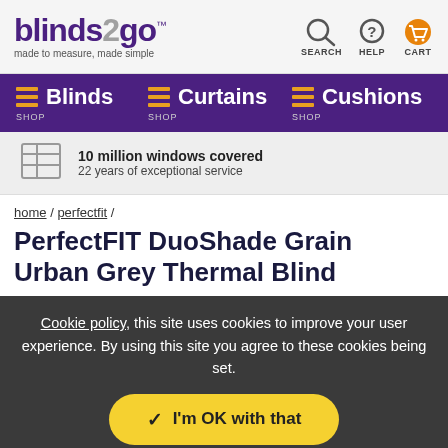[Figure (logo): blinds2go logo with tagline 'made to measure, made simple' and navigation icons for SEARCH, HELP, CART]
Blinds | Curtains | Cushions navigation bar with SHOP labels
10 million windows covered
22 years of exceptional service
home / perfectfit /
PerfectFIT DuoShade Grain Urban Grey Thermal Blind
Cookie policy, this site uses cookies to improve your user experience. By using this site you agree to these cookies being set.
I'm OK with that